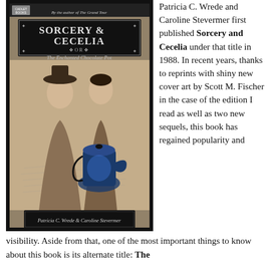[Figure (illustration): Book cover of 'Sorcery & Cecelia or The Enchanted Chocolate Pot' by Patricia C. Wrede & Caroline Stevermer, showing two Regency-era women and a glowing blue chocolate pot on a dark background with handwritten letter motif.]
Patricia C. Wrede and Caroline Stevermer first published Sorcery and Cecelia under that title in 1988. In recent years, thanks to reprints with shiny new cover art by Scott M. Fischer in the case of the edition I read as well as two new sequels, this book has regained popularity and visibility. Aside from that, one of the most important things to know about this book is its alternate title: The